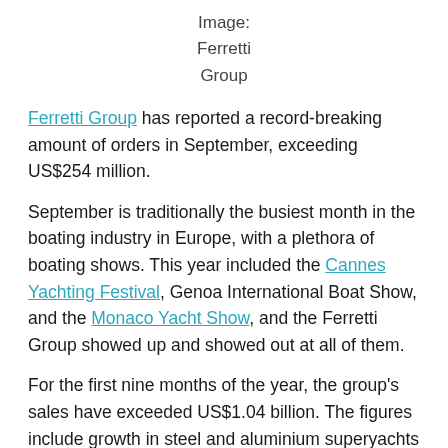Image: Ferretti Group
Ferretti Group has reported a record-breaking amount of orders in September, exceeding US$254 million.
September is traditionally the busiest month in the boating industry in Europe, with a plethora of boating shows. This year included the Cannes Yachting Festival, Genoa International Boat Show, and the Monaco Yacht Show, and the Ferretti Group showed up and showed out at all of them.
For the first nine months of the year, the group's sales have exceeded US$1.04 billion. The figures include growth in steel and aluminium superyachts built at the Ancona...